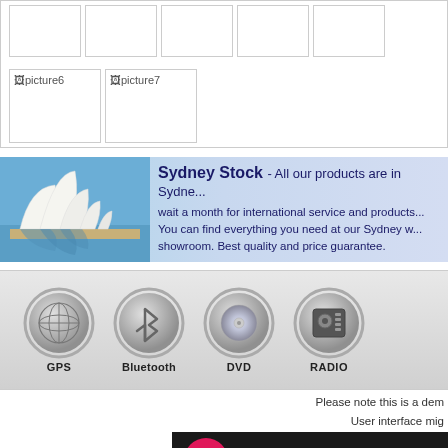[Figure (screenshot): Grid of image placeholders, top row with 5 empty bordered boxes, bottom row with 2 boxes labeled picture6 and picture7]
[Figure (infographic): Sydney Stock banner with Sydney Opera House photo on left and text on right: 'Sydney Stock - All our products are in Sydne... wait a month for international service and products... You can find everything you need at our Sydney w... showroom. Best quality and price guarantee.']
[Figure (infographic): Features icon bar showing GPS, Bluetooth, DVD, RADIO circular icons with labels on grey gradient background]
Please note this is a dem
User interface mig
[Figure (logo): Spark car audio logo: dark background with pink circle containing italic S and white text 'spark car audio']